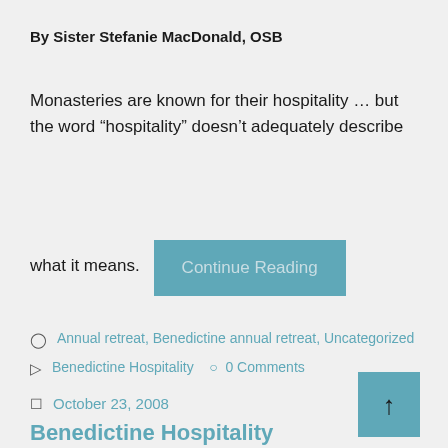By Sister Stefanie MacDonald, OSB
Monasteries are known for their hospitality … but the word “hospitality” doesn’t adequately describe what it means.
Continue Reading
Annual retreat, Benedictine annual retreat, Uncategorized
Benedictine Hospitality   0 Comments
October 23, 2008
Benedictine Hospitality